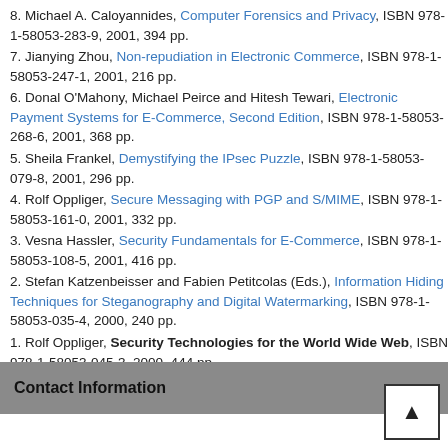8. Michael A. Caloyannides, Computer Forensics and Privacy, ISBN 978-1-58053-283-9, 2001, 394 pp.
7. Jianying Zhou, Non-repudiation in Electronic Commerce, ISBN 978-1-58053-247-1, 2001, 216 pp.
6. Donal O'Mahony, Michael Peirce and Hitesh Tewari, Electronic Payment Systems for E-Commerce, Second Edition, ISBN 978-1-58053-268-6, 2001, 368 pp.
5. Sheila Frankel, Demystifying the IPsec Puzzle, ISBN 978-1-58053-079-8, 2001, 296 pp.
4. Rolf Oppliger, Secure Messaging with PGP and S/MIME, ISBN 978-1-58053-161-0, 2001, 332 pp.
3. Vesna Hassler, Security Fundamentals for E-Commerce, ISBN 978-1-58053-108-5, 2001, 416 pp.
2. Stefan Katzenbeisser and Fabien Petitcolas (Eds.), Information Hiding Techniques for Steganography and Digital Watermarking, ISBN 978-1-58053-035-4, 2000, 240 pp.
1. Rolf Oppliger, Security Technologies for the World Wide Web, ISBN 978-1-58053-045-3, 2000, 444 pp.
Contact Information